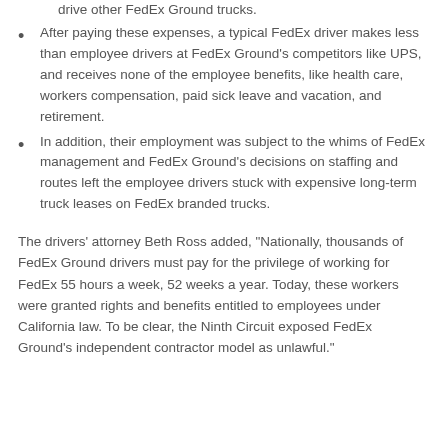drive other FedEx Ground trucks.
After paying these expenses, a typical FedEx driver makes less than employee drivers at FedEx Ground’s competitors like UPS, and receives none of the employee benefits, like health care, workers compensation, paid sick leave and vacation, and retirement.
In addition, their employment was subject to the whims of FedEx management and FedEx Ground’s decisions on staffing and routes left the employee drivers stuck with expensive long-term truck leases on FedEx branded trucks.
The drivers’ attorney Beth Ross added, “Nationally, thousands of FedEx Ground drivers must pay for the privilege of working for FedEx 55 hours a week, 52 weeks a year. Today, these workers were granted rights and benefits entitled to employees under California law. To be clear, the Ninth Circuit exposed FedEx Ground’s independent contractor model as unlawful.”